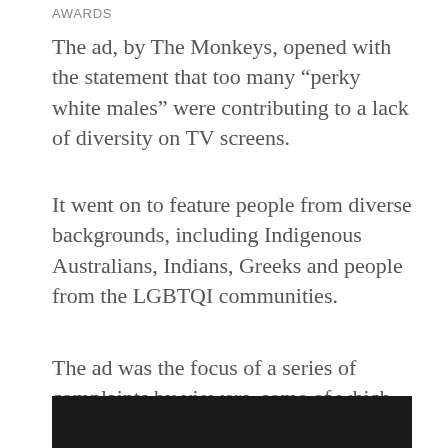AWARDS
The ad, by The Monkeys, opened with the statement that too many “perky white males” were contributing to a lack of diversity on TV screens.
It went on to feature people from diverse backgrounds, including Indigenous Australians, Indians, Greeks and people from the LGBTQI communities.
The ad was the focus of a series of complaints by viewers, some of which claimed it was ‘racist against white people’. All complaints were subsequently dismissed.
[Figure (photo): Dark/black bar at the bottom of the page, appears to be the top edge of a video or image frame]